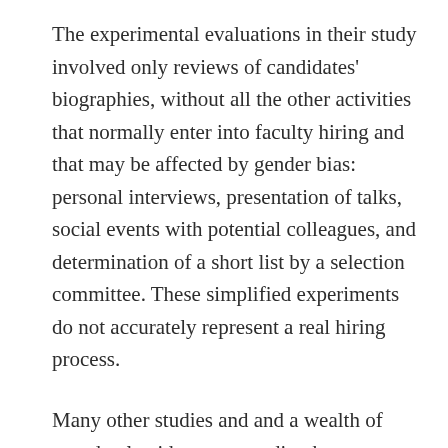The experimental evaluations in their study involved only reviews of candidates' biographies, without all the other activities that normally enter into faculty hiring and that may be affected by gender bias: personal interviews, presentation of talks, social events with potential colleagues, and determination of a short list by a selection committee. These simplified experiments do not accurately represent a real hiring process.
Many other studies and and a wealth of anecdotal evidence contradict the conclusions of Williams and Ceci. For example, Viviane Callier, Ph. D., contractor at the National Cancer Institute, told us [5] that recent surveys [6,7] found evidence of pervasive sexism in letters of recommendation—a domain in which the assumption of a level playing field does not apply and which is out of the women applicant's control